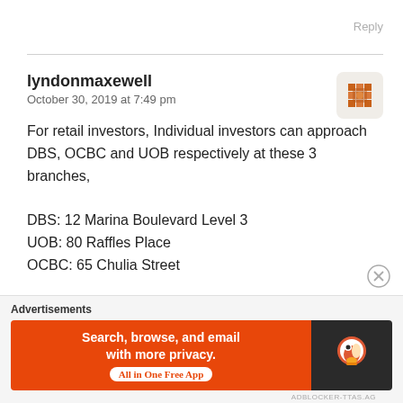Reply
lyndonmaxewell
October 30, 2019 at 7:49 pm
For retail investors, Individual investors can approach DBS, OCBC and UOB respectively at these 3 branches,

DBS: 12 Marina Boulevard Level 3
UOB: 80 Raffles Place
OCBC: 65 Chulia Street
Advertisements
[Figure (screenshot): DuckDuckGo advertisement banner with orange background. Text reads: Search, browse, and email with more privacy. All in One Free App. DuckDuckGo logo on dark right panel.]